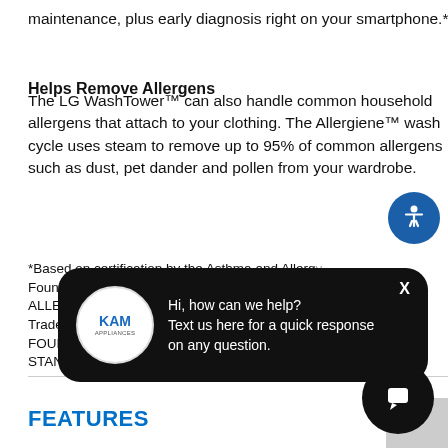maintenance, plus early diagnosis right on your smartphone.*
Helps Remove Allergens
The LG WashTower™ can also handle common household allergens that attach to your clothing. The Allergiene™ wash cycle uses steam to remove up to 95% of common allergens such as dust, pet dander and pollen from your wardrobe.
*Based on certification by the Asthma and Allergy Foundation of America (AAFA). ASTHMA & ALLERGY FRIENDLY is a Certification Mark. Trademarks and servicemarks are property of ASTHMA AND ALLERGY FOUNDATION OF AMERICA AND ALLERGY STANDARDS LTD.
FEATURES